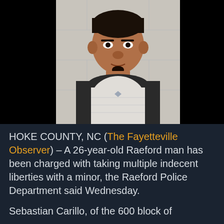[Figure (photo): Mugshot of a man wearing a dark-sleeved gray and white shirt, against a white brick wall background. The photo is centered on a black background.]
HOKE COUNTY, NC (The Fayetteville Observer) – A 26-year-old Raeford man has been charged with taking multiple indecent liberties with a minor, the Raeford Police Department said Wednesday.
Sebastian Carillo, of the 600 block of